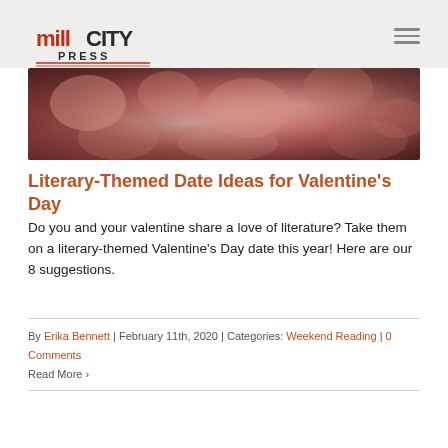Mill City Press
[Figure (photo): Close-up photo of pink and red flowers, used as hero/banner image for the blog post]
Literary-Themed Date Ideas for Valentine's Day
Do you and your valentine share a love of literature? Take them on a literary-themed Valentine's Day date this year! Here are our 8 suggestions.
By Erika Bennett | February 11th, 2020 | Categories: Weekend Reading | 0 Comments
Read More >